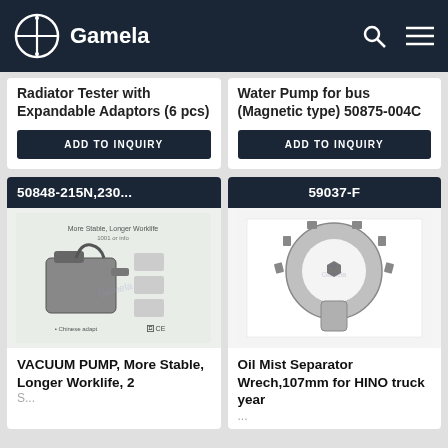Gamela
Radiator Tester with Expandable Adaptors (6 pcs)
ADD TO INQUIRY
Water Pump for bus (Magnetic type) 50875-004C
ADD TO INQUIRY
50848-215N,230...
[Figure (photo): Vacuum pump product image with specifications sheet]
VACUUM PUMP, More Stable, Longer Worklife, 2
59037-F
[Figure (photo): Oil mist separator wrench, 107mm, ring-shaped silver metal tool]
Oil Mist Separator Wrech,107mm for HINO truck year